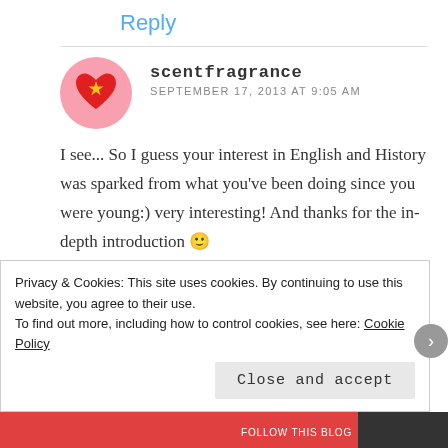Reply
scentfragrance
SEPTEMBER 17, 2013 AT 9:05 AM
I see... So I guess your interest in English and History was sparked from what you've been doing since you were young:) very interesting! And thanks for the in-depth introduction 🙂
Privacy & Cookies: This site uses cookies. By continuing to use this website, you agree to their use.
To find out more, including how to control cookies, see here: Cookie Policy
Close and accept